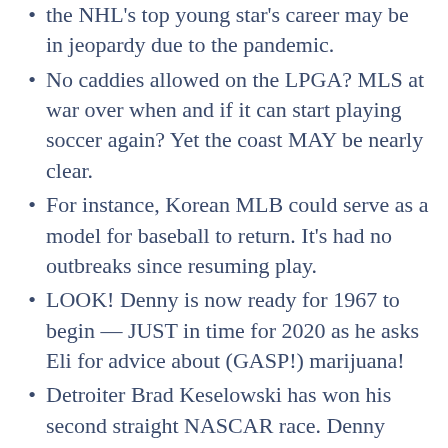COVID-19 talk is everywhere and one of the NHL's top young star's career may be in jeopardy due to the pandemic.
No caddies allowed on the LPGA? MLS at war over when and if it can start playing soccer again? Yet the coast MAY be nearly clear.
For instance, Korean MLB could serve as a model for baseball to return. It's had no outbreaks since resuming play.
LOOK! Denny is now ready for 1967 to begin — JUST in time for 2020 as he asks Eli for advice about (GASP!) marijuana!
Detroiter Brad Keselowski has won his second straight NASCAR race. Denny recalls interviewing him when Brad was THREE!
How do you go through $44 million and